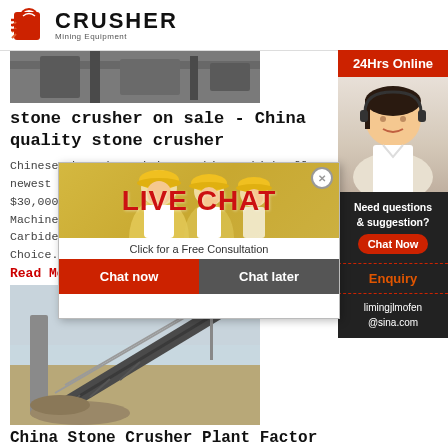[Figure (logo): Crusher Mining Equipment logo with red shopping bag icon and bold text]
[Figure (photo): Top portion of a crusher/mining equipment product image]
stone crusher on sale - China quality stone crusher
Chinese Zhengzhou Mining Machinery high effe… newest styl… $30,000 / S… Machinery B… Carbide Bar… Choice. $45…
Read More
[Figure (photo): Conveyor belt / stone crusher plant photo]
China Stone Crusher Plant Factor…
[Figure (screenshot): Live chat popup overlay with workers in hard hats, LIVE CHAT text in red, Click for a Free Consultation, Chat now and Chat later buttons]
[Figure (infographic): Right sidebar: 24Hrs Online red bar, dark box with Need questions & suggestion? Chat Now button, Enquiry section, limingjlmofen@sina.com email]